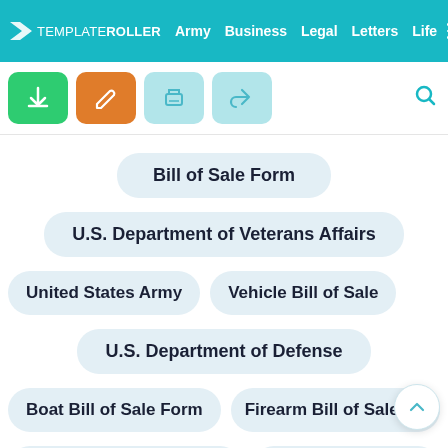TemplateRoller | Army | Business | Legal | Letters | Life
[Figure (screenshot): Toolbar with download (green), edit (orange), print (teal), share (teal) buttons and search icon]
Bill of Sale Form
U.S. Department of Veterans Affairs
United States Army
Vehicle Bill of Sale
U.S. Department of Defense
Boat Bill of Sale Form
Firearm Bill of Sale Form
Generic Bill of Sale Form
Cover Letter Template